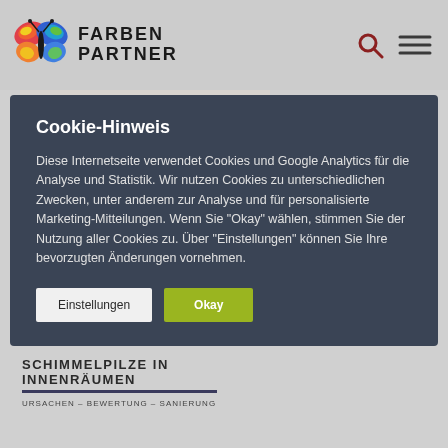[Figure (logo): Farben Partner logo with colorful butterfly and bold brand name text]
[Figure (screenshot): Background website content showing a book about Schimmelpilze in Innenräumen (mold in interiors), partially visible beneath cookie overlay]
Cookie-Hinweis
Diese Internetseite verwendet Cookies und Google Analytics für die Analyse und Statistik. Wir nutzen Cookies zu unterschiedlichen Zwecken, unter anderem zur Analyse und für personalisierte Marketing-Mitteilungen. Wenn Sie "Okay" wählen, stimmen Sie der Nutzung aller Cookies zu. Über "Einstellungen" können Sie Ihre bevorzugten Änderungen vornehmen.
Einstellungen
Okay